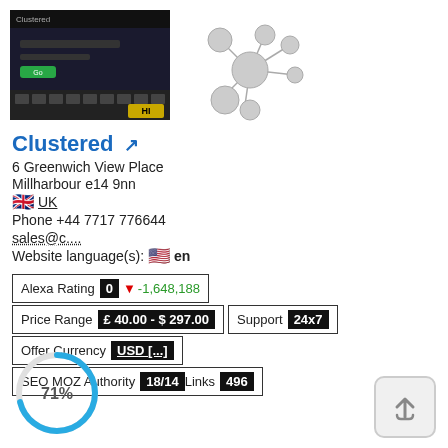[Figure (screenshot): Screenshot of Clustered website showing dark server/hosting interface with green button and HI logo badge]
[Figure (illustration): Network diagram illustration showing connected circles/nodes in gray tones]
Clustered ↗
6 Greenwich View Place
Millharbour e14 9nn
🇬🇧 UK
Phone +44 7717 776644
sales@c....
Website language(s): 🇺🇸 en
| Alexa Rating | 0 | ▼ -1,648,188 |
| Price Range | £ 40.00 - $ 297.00 | Support | 24x7 |
| Offer Currency | USD [...] |
| SEO MOZ Authority | 18/14 | Links | 496 |
[Figure (infographic): Circular progress indicator showing 71%]
[Figure (illustration): Up arrow button icon in rounded rectangle]